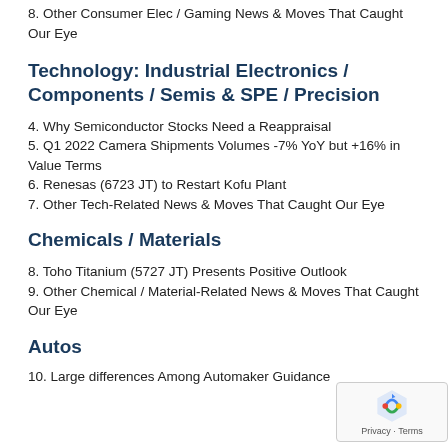8. Other Consumer Elec / Gaming News & Moves That Caught Our Eye
Technology: Industrial Electronics / Components / Semis & SPE / Precision
4. Why Semiconductor Stocks Need a Reappraisal
5. Q1 2022 Camera Shipments Volumes -7% YoY but +16% in Value Terms
6. Renesas (6723 JT) to Restart Kofu Plant
7. Other Tech-Related News & Moves That Caught Our Eye
Chemicals / Materials
8. Toho Titanium (5727 JT) Presents Positive Outlook
9. Other Chemical / Material-Related News & Moves That Caught Our Eye
Autos
10. Large differences Among Automaker Guidance